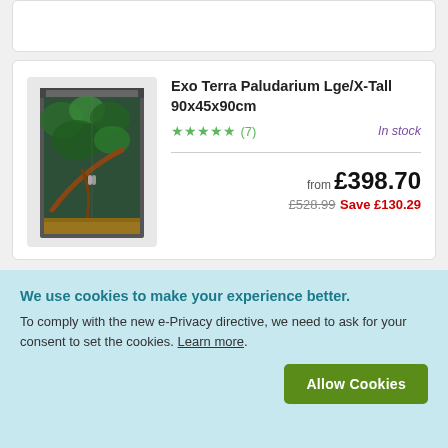[Figure (photo): Partial top product card, cut off at top]
[Figure (photo): Exo Terra Paludarium terrarium with lush tropical interior]
Exo Terra Paludarium Lge/X-Tall 90x45x90cm
★★★★★ (7)
In stock
from £398.70
£528.99 Save £130.29
[Figure (photo): Swell ReptiAir Screen Cage product image]
Swell ReptiAir Screen Cage
★★★★★ (1)
In stock
We use cookies to make your experience better.
To comply with the new e-Privacy directive, we need to ask for your consent to set the cookies. Learn more.
Allow Cookies